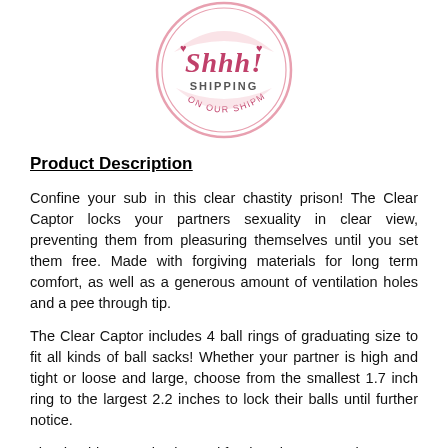[Figure (logo): Circular pink logo with 'Shhh! SHIPPING ON OUR SHIPMENTS' text in pink/red cursive and block letters, with heart decorations]
Product Description
Confine your sub in this clear chastity prison! The Clear Captor locks your partners sexuality in clear view, preventing them from pleasuring themselves until you set them free. Made with forgiving materials for long term comfort, as well as a generous amount of ventilation holes and a pee through tip.
The Clear Captor includes 4 ball rings of graduating size to fit all kinds of ball sacks! Whether your partner is high and tight or loose and large, choose from the smallest 1.7 inch ring to the largest 2.2 inches to lock their balls until further notice.
The durable ABS plastic used for the Clear Captor is